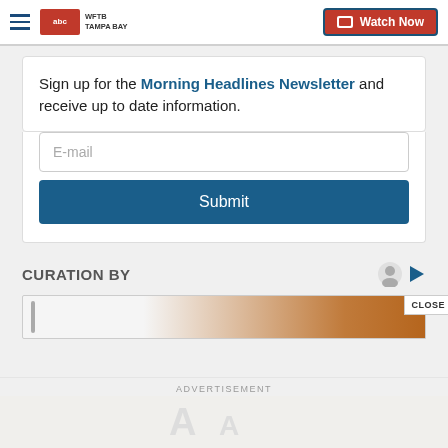WFTB Tampa Bay | Watch Now
Sign up for the Morning Headlines Newsletter and receive up to date information.
[Figure (screenshot): E-mail input field followed by a Submit button]
CURATION BY
[Figure (screenshot): Partial advertisement banner with CLOSE button]
ADVERTISEMENT